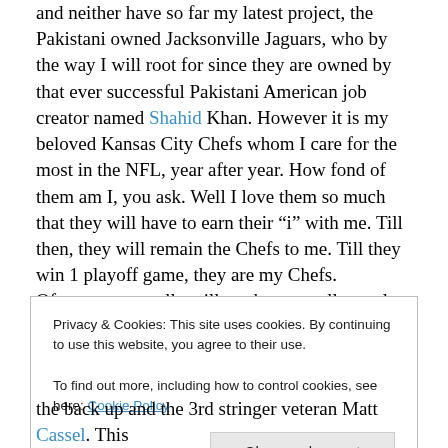and neither have so far my latest project, the Pakistani owned Jacksonville Jaguars, who by the way I will root for since they are owned by that ever successful Pakistani American job creator named Shahid Khan. However it is my beloved Kansas City Chefs whom I care for the most in the NFL, year after year. How fond of them am I, you ask. Well I love them so much that they will have to earn their “i” with me. Till then, they will remain the Chefs to me. Till they win 1 playoff game, they are my Chefs.
Of course we really will not know at all exactly what the Chefs will end up doing right until and on draft day on
Privacy & Cookies: This site uses cookies. By continuing to use this website, you agree to their use.
To find out more, including how to control cookies, see here: Cookie Policy
the back up and the 3rd stringer veteran Matt Cassel.  This